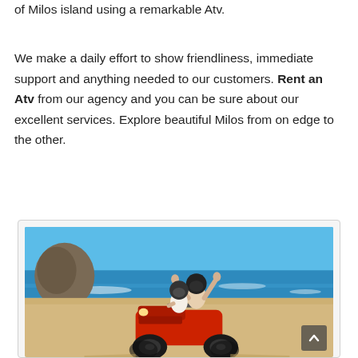of Milos island using a remarkable Atv.
We make a daily effort to show friendliness, immediate support and anything needed to our customers. Rent an Atv from our agency and you can be sure about our excellent services. Explore beautiful Milos from on edge to the other.
[Figure (photo): Two people wearing helmets riding a red ATV quad bike on a sandy beach with blue ocean water and rocky cliffs in the background. The passenger is waving with both hands raised.]